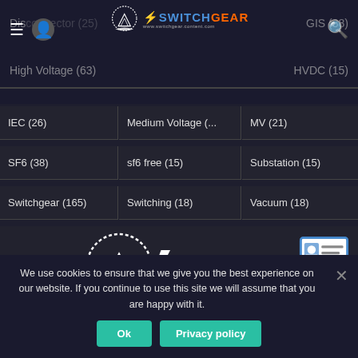Switchgear Content website header with navigation and logo
Disconnector (25)
GIS (38)
High Voltage (63)
HVDC (15)
IEC (26)
Medium Voltage (...)
MV (21)
SF6 (38)
sf6 free (15)
Substation (15)
Switchgear (165)
Switching (18)
Vacuum (18)
[Figure (logo): Switchgear Content logo with lightning bolt and www.switchgear.content.com]
We use cookies to ensure that we give you the best experience on our website. If you continue to use this site we will assume that you are happy with it.
Ok
Privacy policy